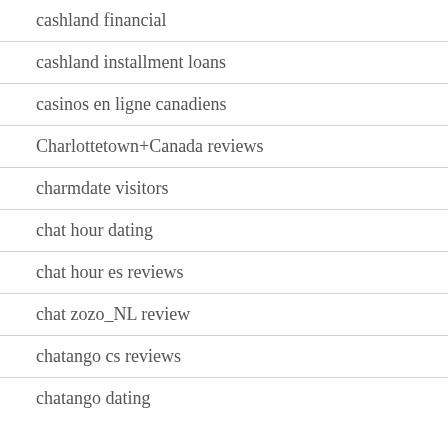cashland financial
cashland installment loans
casinos en ligne canadiens
Charlottetown+Canada reviews
charmdate visitors
chat hour dating
chat hour es reviews
chat zozo_NL review
chatango cs reviews
chatango dating